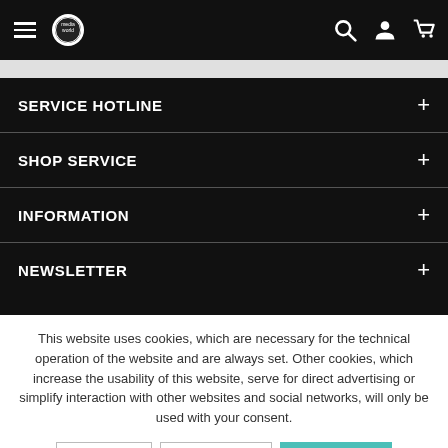Menu / Logo / Search / Account / Cart
SERVICE HOTLINE +
SHOP SERVICE +
INFORMATION +
NEWSLETTER +
This website uses cookies, which are necessary for the technical operation of the website and are always set. Other cookies, which increase the usability of this website, serve for direct advertising or simplify interaction with other websites and social networks, will only be used with your consent.
Decline | Accept all | Configure